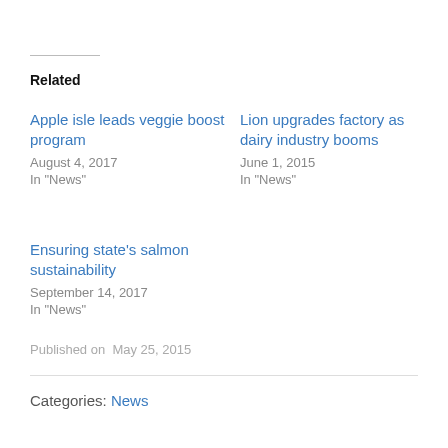Related
Apple isle leads veggie boost program
August 4, 2017
In "News"
Lion upgrades factory as dairy industry booms
June 1, 2015
In "News"
Ensuring state's salmon sustainability
September 14, 2017
In "News"
Published on  May 25, 2015
Categories: News